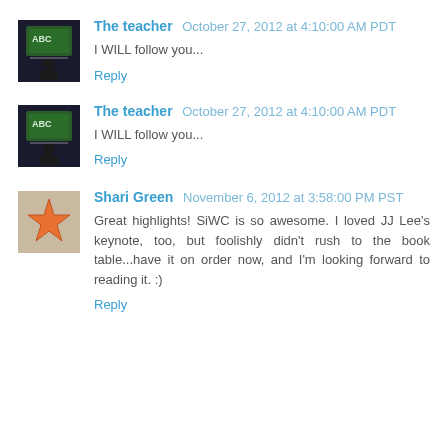The teacher  October 27, 2012 at 4:10:00 AM PDT
I WILL follow you...
Reply
The teacher  October 27, 2012 at 4:10:00 AM PDT
I WILL follow you...
Reply
Shari Green  November 6, 2012 at 3:58:00 PM PST
Great highlights! SiWC is so awesome. I loved JJ Lee's keynote, too, but foolishly didn't rush to the book table...have it on order now, and I'm looking forward to reading it. :)
Reply